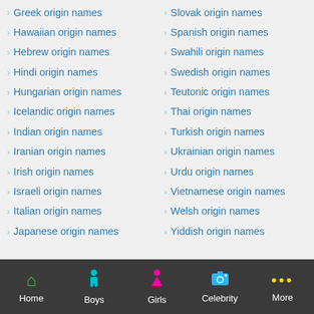Greek origin names
Hawaiian origin names
Hebrew origin names
Hindi origin names
Hungarian origin names
Icelandic origin names
Indian origin names
Iranian origin names
Irish origin names
Israeli origin names
Italian origin names
Japanese origin names
Slovak origin names
Spanish origin names
Swahili origin names
Swedish origin names
Teutonic origin names
Thai origin names
Turkish origin names
Ukrainian origin names
Urdu origin names
Vietnamese origin names
Welsh origin names
Yiddish origin names
Home  Boys  Girls  Celebrity  More